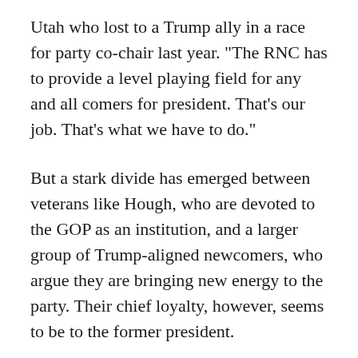Utah who lost to a Trump ally in a race for party co-chair last year. "The RNC has to provide a level playing field for any and all comers for president. That's our job. That's what we have to do."
But a stark divide has emerged between veterans like Hough, who are devoted to the GOP as an institution, and a larger group of Trump-aligned newcomers, who argue they are bringing new energy to the party. Their chief loyalty, however, seems to be to the former president.
"Leading up to 2020, or most of the time Trump was in office, he sent around his minions to populate the committee with very loyal Trump folks in a lot of red states," said Bill Palatucci, an RNC committeeman from New Jersey and